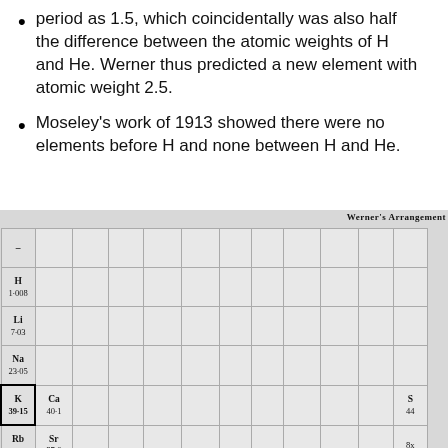period as 1.5, which coincidentally was also half the difference between the atomic weights of H and He. Werner thus predicted a new element with atomic weight 2.5.
Moseley's work of 1913 showed there were no elements before H and none between H and He.
[Figure (other): Werner's Arrangement periodic table showing elements with symbols and atomic weights. Visible elements include H 1·008, Li 7·03, Na 23·05, K 39·15 (boxed), Ca 40·1, Rb 85·4, Sr 87·6, Cs 133, Ba 137·4, La 138, Ce 140, Nd 148·6 (boxed), Pr 140·6 (boxed), Sm 150·3, Eu 151·79, Gd 156, Tb 160, Ho 162, Er 166, Tu 171, Yb 173·0, Ra, La a, Th, U, Ac and others partially visible.]